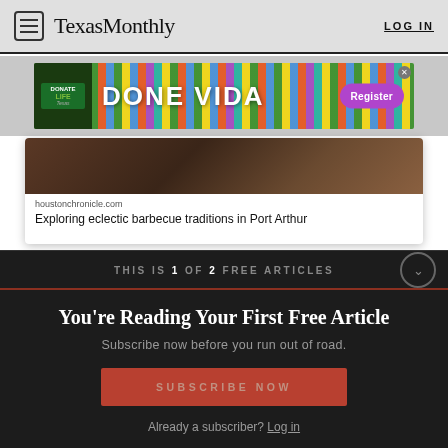Texas Monthly | LOG IN
[Figure (other): Advertisement banner for Donate Life Texas - DONE VIDA with Register button]
[Figure (other): Article preview card from houstonchronicle.com: Exploring eclectic barbecue traditions in Port Arthur]
THIS IS 1 OF 2 FREE ARTICLES
You're Reading Your First Free Article
Subscribe now before you run out of road.
SUBSCRIBE NOW
Already a subscriber? Log in